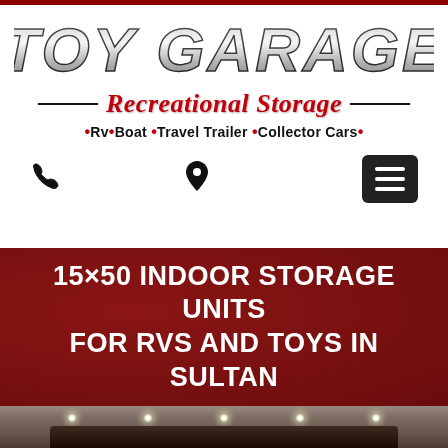[Figure (logo): TOY GARAGE logo in bold metallic/grey lettering with Recreational Storage in red italic script below, horizontal lines flanking the script text]
•Rv •Boat •Travel Trailer •Collector Cars •
[Figure (infographic): Navigation bar with phone icon, location pin icon, and hamburger menu button]
15×50 INDOOR STORAGE UNITS FOR RVS AND TOYS IN SULTAN
[Figure (photo): Interior of an indoor RV/boat storage facility showing ceiling lights and a large vehicle being stored]